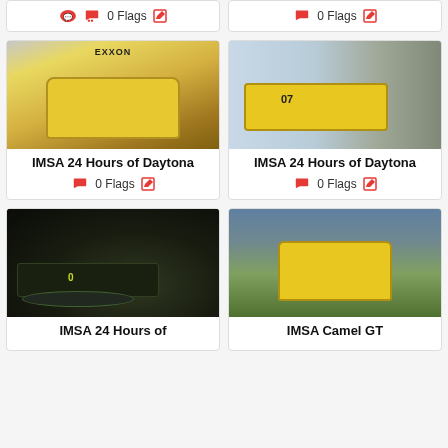[Figure (photo): Partial top of two cards showing 0 Flags and edit icons]
0 Flags
0 Flags
[Figure (photo): Yellow Porsche 964 racing car front view at IMSA 24 Hours of Daytona]
IMSA 24 Hours of Daytona
0 Flags
[Figure (photo): Yellow Porsche 944 #07 racing car side view at IMSA 24 Hours of Daytona]
IMSA 24 Hours of Daytona
0 Flags
[Figure (photo): Dark racing car at night, IMSA 24 Hours of Daytona]
IMSA 24 Hours of
[Figure (photo): Yellow Porsche rear view at IMSA Camel GT]
IMSA Camel GT